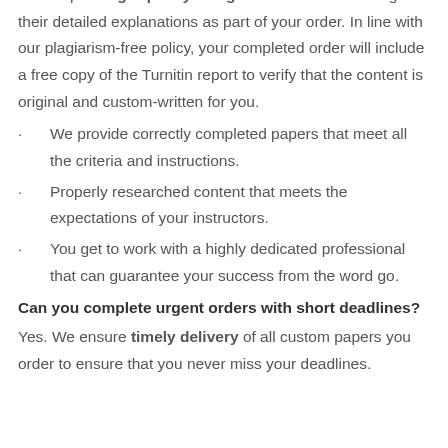Yes. Expect high-quality assignment solutions along with their detailed explanations as part of your order. In line with our plagiarism-free policy, your completed order will include a free copy of the Turnitin report to verify that the content is original and custom-written for you.
We provide correctly completed papers that meet all the criteria and instructions.
Properly researched content that meets the expectations of your instructors.
You get to work with a highly dedicated professional that can guarantee your success from the word go.
Can you complete urgent orders with short deadlines?
Yes. We ensure timely delivery of all custom papers you order to ensure that you never miss your deadlines.